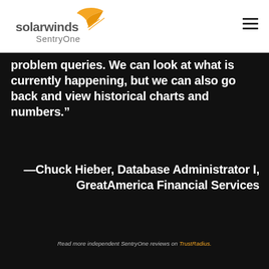[Figure (logo): SolarWinds SentryOne logo in header]
problem queries. We can look at what is currently happening, but we can also go back and view historical charts and numbers.”
—Chuck Hieber, Database Administrator I, GreatAmerica Financial Services
Read more independent SentryOne reviews on TrustRadius.